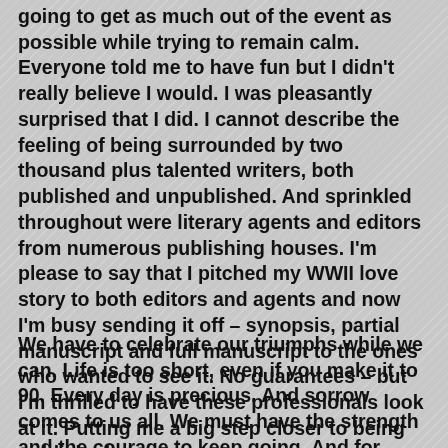going to get as much out of the event as possible while trying to remain calm. Everyone told me to have fun but I didn't really believe I would. I was pleasantly surprised that I did. I cannot describe the feeling of being surrounded by two thousand plus talented writers, both published and unpublished. And sprinkled throughout were literary agents and editors from numerous publishing houses. I'm please to say that I pitched my WWII love story to both editors and agents and now I'm busy sending it off – synopsis, partial manuscript and full manuscript to the ones who wanted to see it. No guarantees – but I'm thrilled to have these professionals look at it. Putting me a big step closer to being published.
We have to celebrate our triumphs while we can. Life is too short, even if you make it to 90. Every day is precious. And sorrow comes to us all. We must have the strength and the courage to keep going. And for